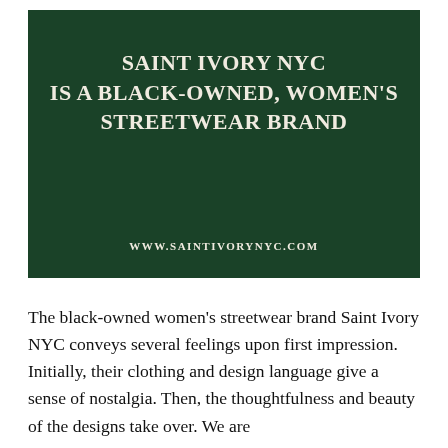[Figure (other): Dark green background image with white serif bold text reading 'SAINT IVORY NYC IS A BLACK-OWNED, WOMEN'S STREETWEAR BRAND' centered, and website URL 'WWW.SAINTIVORYNYC.COM' at the bottom.]
The black-owned women's streetwear brand Saint Ivory NYC conveys several feelings upon first impression. Initially, their clothing and design language give a sense of nostalgia. Then, the thoughtfulness and beauty of the designs take over. We are